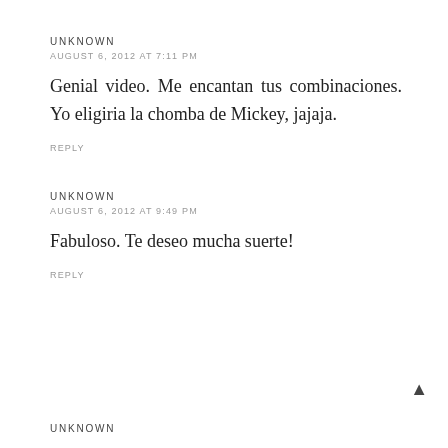UNKNOWN
AUGUST 6, 2012 AT 7:11 PM
Genial video. Me encantan tus combinaciones. Yo eligiria la chomba de Mickey, jajaja.
REPLY
UNKNOWN
AUGUST 6, 2012 AT 9:49 PM
Fabuloso. Te deseo mucha suerte!
REPLY
UNKNOWN